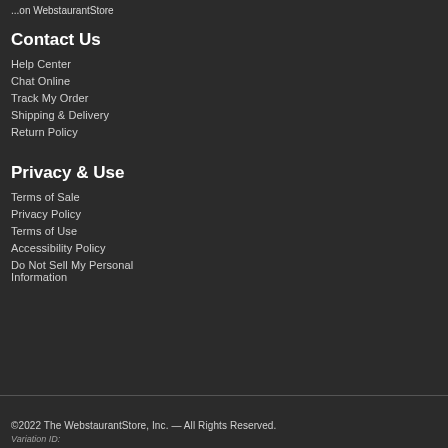...on WebstaurantStore
Contact Us
Help Center
Chat Online
Track My Order
Shipping & Delivery
Return Policy
Privacy & Use
Terms of Sale
Privacy Policy
Terms of Use
Accessibility Policy
Do Not Sell My Personal Information
©2022 The WebstaurantStore, Inc. — All Rights Reserved.
Variation ID: